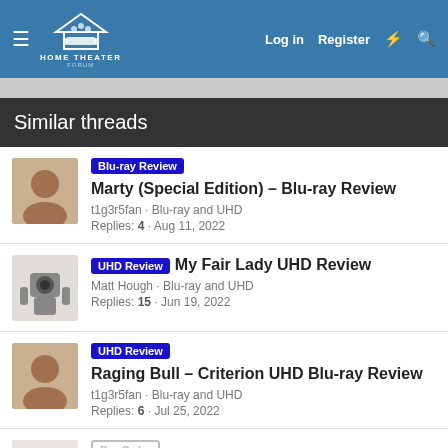Home Theater Forum — Log in  Register
Similar threads
Blu-ray Review  Marty (Special Edition) – Blu-ray Review
t1g3r5fan · Blu-ray and UHD
Replies: 4 · Aug 11, 2022
UHD Review  My Fair Lady UHD Review
Matt Hough · Blu-ray and UHD
Replies: 15 · Jun 19, 2022
UHD Review  Raging Bull – Criterion UHD Blu-ray Review
t1g3r5fan · Blu-ray and UHD
Replies: 6 · Jul 25, 2022
Pre-Order  PHE Press Release: Top Gun Maverick (4k…